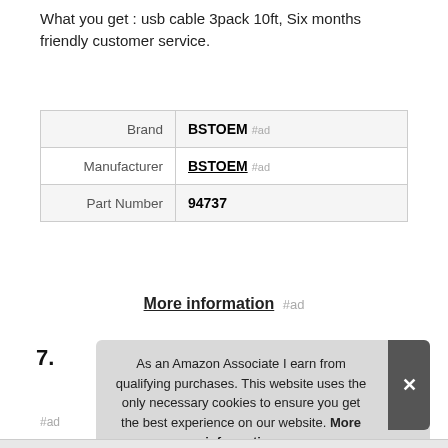What you get : usb cable 3pack 10ft, Six months friendly customer service.
| Brand | BSTOEM #ad |
| Manufacturer | BSTOEM #ad |
| Part Number | 94737 |
More information #ad
7.
As an Amazon Associate I earn from qualifying purchases. This website uses the only necessary cookies to ensure you get the best experience on our website. More information
#ad